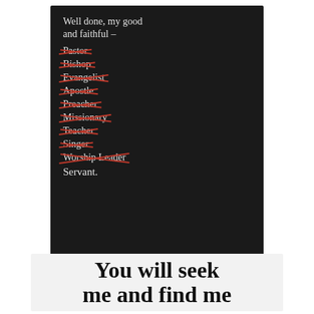[Figure (illustration): Black chalkboard with white chalk handwritten text reading 'Well done, my good and faithful -' followed by a list of crossed-out titles: Pastor, Bishop, Evangelist, Apostle, Preacher, Missionary, Teacher, Singer, Worship Leader, and then 'Servant.' at the bottom (not crossed out). The crossed-out words have red X marks through them.]
[Figure (illustration): White/light background card with large cursive black text reading 'You will seek me and find me' (partially visible, cut off at bottom).]